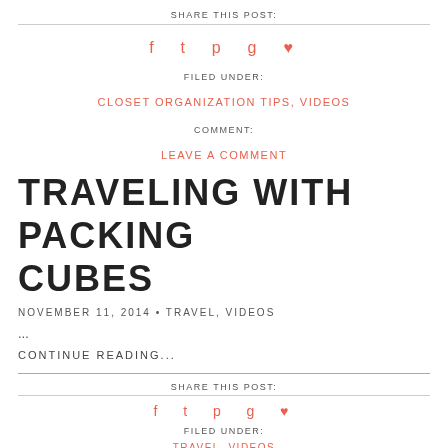SHARE THIS POST:
[Figure (other): Social share icons: Facebook, Twitter, Pinterest, Google+, Heart]
FILED UNDER:
CLOSET ORGANIZATION TIPS, VIDEOS
COMMENT:
LEAVE A COMMENT
TRAVELING WITH PACKING CUBES
NOVEMBER 11, 2014 • TRAVEL, VIDEOS
...
CONTINUE READING...
SHARE THIS POST:
[Figure (other): Social share icons: Facebook, Twitter, Pinterest, Google+, Heart]
FILED UNDER:
TRAVEL, VIDEOS